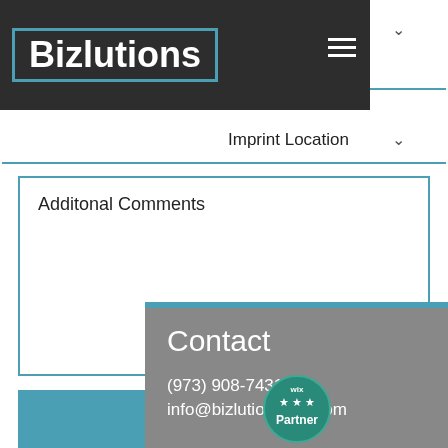[Figure (screenshot): Bizlutions logo in white bold text inside a teal border box, on a dark gray header bar with hamburger menu icon]
Imprint Method
Imprint Location
Additonal Comments
Submit
Contact
(973) 908-7431
info@bizlutionsusa.com
[Figure (logo): Wix Partner badge — teal circular badge with 'wix' text, three stars, and 'Partner' text]